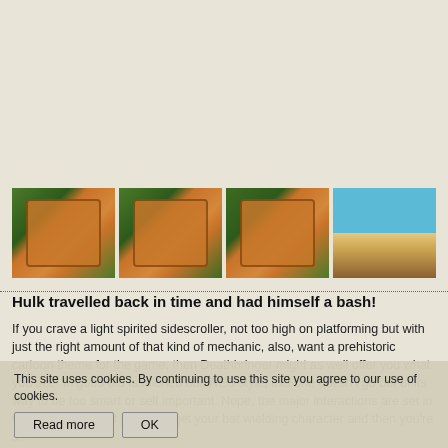[Figure (screenshot): Four thumbnail screenshots in a row: three showing a prehistoric cartoon game with a scroll/parchment UI overlay on a jungle background, and one showing a side-scrolling action game with a blue sky and beach background.]
Hulk travelled back in time and had himself a bash!
If you crave a light spirited sidescroller, not too high on platforming but with just the right amount of that kind of mechanic, also, want a prehistoric cartoon theme for the game, then Deathbringer might as well offer you what you see. In good old fashioned 8bit NES style, this one doesn't go out of its way to be too smart or self important. Nope, the major interactions are set in the first seconds of play. You get your bat wielding character and then you're set... work well enough though. The... great, for what the game wants to be. The prehistoric world is colorful, has that Fred and Barney, two...
This site uses cookies. By continuing to use this site you agree to our use of cookies.